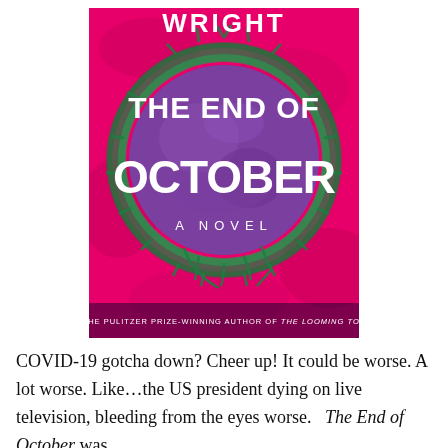[Figure (illustration): Book cover of 'The End of October' by Lawrence Wright. Hot pink/magenta background with a large circular virus-like organism in the center rendered in purple and green. Large white bold text reads 'THE END OF OCTOBER'. Above the circle in white text is 'WRIGHT'. Below in smaller white text 'A NOVEL'. At the bottom: 'BY THE PULITZER PRIZE-WINNING AUTHOR OF THE LOOMING TOWER'.]
COVID-19 gotcha down? Cheer up! It could be worse. A lot worse. Like…the US president dying on live television, bleeding from the eyes worse.   The End of October was